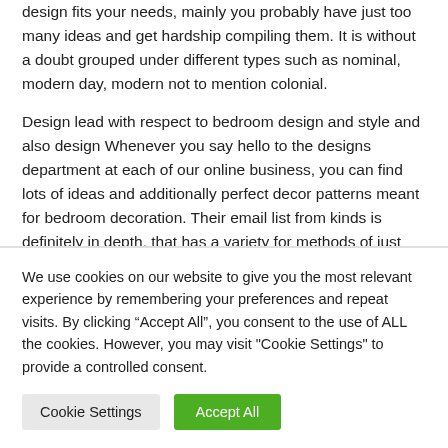design fits your needs, mainly you probably have just too many ideas and get hardship compiling them. It is without a doubt grouped under different types such as nominal, modern day, modern not to mention colonial.
Design lead with respect to bedroom design and style and also design Whenever you say hello to the designs department at each of our online business, you can find lots of ideas and additionally perfect decor patterns meant for bedroom decoration. Their email list from kinds is definitely in depth, that has a variety for methods of just about all tastes. You will find very good visuals every one styles. It won't be difficult to get something which will inspire you will through these
We use cookies on our website to give you the most relevant experience by remembering your preferences and repeat visits. By clicking "Accept All", you consent to the use of ALL the cookies. However, you may visit "Cookie Settings" to provide a controlled consent.